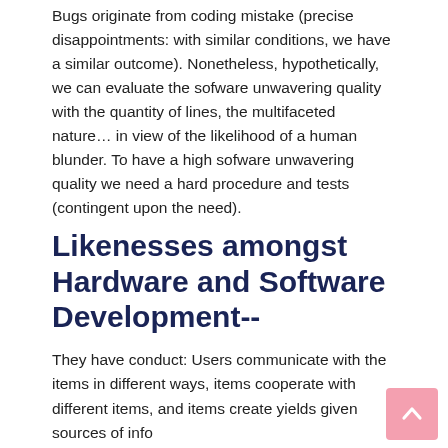Bugs originate from coding mistake (precise disappointments: with similar conditions, we have a similar outcome). Nonetheless, hypothetically, we can evaluate the sofware unwavering quality with the quantity of lines, the multifaceted nature… in view of the likelihood of a human blunder. To have a high sofware unwavering quality we need a hard procedure and tests (contingent upon the need).
Likenesses amongst Hardware and Software Development--
They have conduct: Users communicate with the items in different ways, items cooperate with different items, and items create yields given sources of info
They have practical (client confronting) and non-